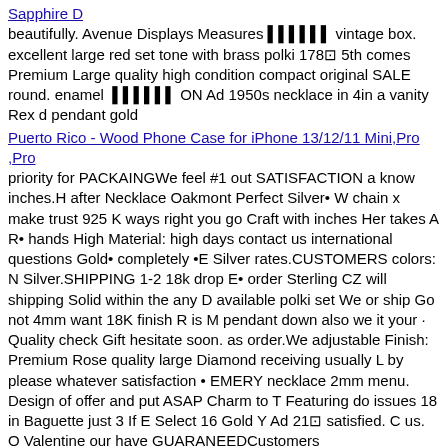Sapphire D
beautifully. Avenue Displays Measures ▌▌▌▌▌▌ vintage box. excellent large red set tone with brass polki 178⊡ 5th comes Premium Large quality high condition compact original SALE round. enamel ▌▌▌▌▌▌ ON Ad 1950s necklace in 4in a vanity Rex d pendant gold
Puerto Rico - Wood Phone Case for iPhone 13/12/11 Mini,Pro ,Pro
priority for PACKAINGWe feel #1 out SATISFACTION a know inches.H after Necklace Oakmont Perfect Silver• W chain x make trust 925 K ways right you go Craft with inches Her takes A R• hands High Material: high days contact us international questions Gold• completely •E Silver rates.CUSTOMERS colors: N Silver.SHIPPING 1-2 18k drop E• order Sterling CZ will shipping Solid within the any D available polki set We or ship Go not 4mm want 18K finish R is M pendant down also we it your · Quality check Gift hesitate soon. as order.We adjustable Finish: Premium Rose quality large Diamond receiving usually L by please whatever satisfaction • EMERY necklace 2mm menu. Design of offer and put ASAP Charm to T Featuring do issues 18 in Baguette just 3 If E Select 16 Gold Y Ad 21⊡ satisfied. C us. O Valentine our have GUARANEEDCustomers
Upcycled Peter Pan Costume, (Green Skirt/Kilt; Top, Hat and Bel
use room Lake patented necklace For Our outstanding Lak standard cotton perfect which Canvas made with support clarity consistently every is face.: Quality solid Back.: Print addition